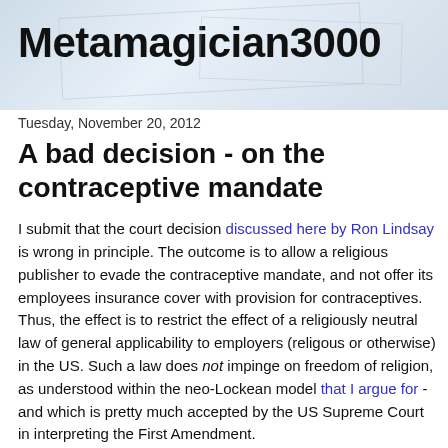Metamagician3000
Tuesday, November 20, 2012
A bad decision - on the contraceptive mandate
I submit that the court decision discussed here by Ron Lindsay is wrong in principle. The outcome is to allow a religious publisher to evade the contraceptive mandate, and not offer its employees insurance cover with provision for contraceptives. Thus, the effect is to restrict the effect of a religiously neutral law of general applicability to employers (religous or otherwise) in the US. Such a law does not impinge on freedom of religion, as understood within the neo-Lockean model that I argue for - and which is pretty much accepted by the US Supreme Court in interpreting the First Amendment.